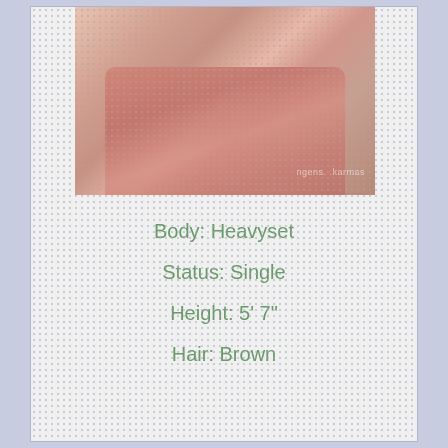[Figure (photo): Person wearing a pink wrap dress, photo taken from mid-torso up, with a watermark overlay]
Body: Heavyset
Status: Single
Height: 5' 7"
Hair: Brown